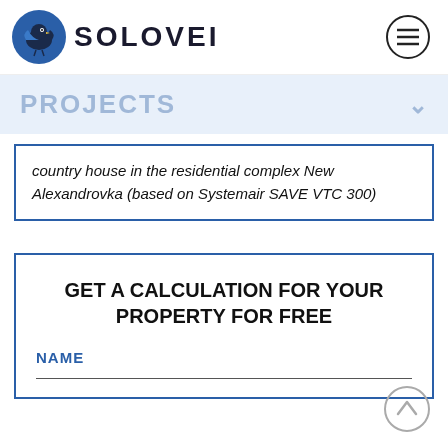[Figure (logo): SOLOVEI logo with bird icon on left and text SOLOVEI on right, plus hamburger menu icon on the far right]
PROJECTS
country house in the residential complex New Alexandrovka (based on Systemair SAVE VTC 300)
GET A CALCULATION FOR YOUR PROPERTY FOR FREE
NAME